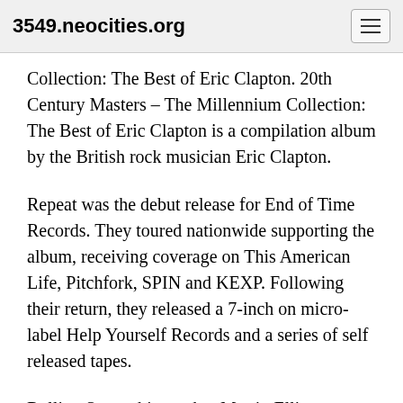3549.neocities.org
Collection: The Best of Eric Clapton. 20th Century Masters – The Millennium Collection: The Best of Eric Clapton is a compilation album by the British rock musician Eric Clapton.
Repeat was the debut release for End of Time Records. They toured nationwide supporting the album, receiving coverage on This American Life, Pitchfork, SPIN and KEXP. Following their return, they released a 7-inch on micro-label Help Yourself Records and a series of self released tapes.
Rolling Stones biographer Martin Elliot describes the lyrics as bitter, suggesting that